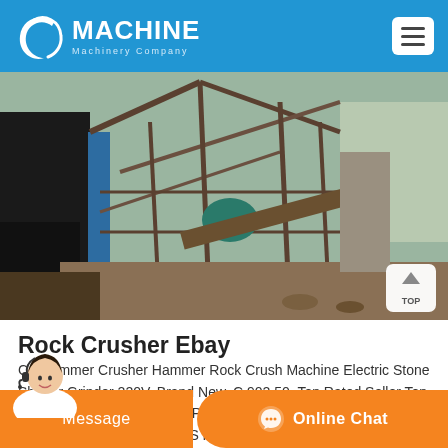MACHINE Machinery Company
[Figure (photo): Industrial rock crushing machinery site with metal scaffolding, conveyor structures, and heavy equipment outdoors]
Rock Crusher Ebay
CA Hammer Crusher Hammer Rock Crush Machine Electric Stone Shatter Grinder 220V. Brand New. C 902.50. Top Rated Seller Top Rated Seller. Was Previous PriceC 950.00 5 off. or st Offer. C 299.00 shipping. 0 Z C Y R S n o 8 W n S s C D o